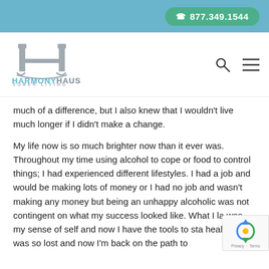877.349.1544
[Figure (logo): Harmony Haus Sober Living logo with stylized H columns and text]
much of a difference, but I also knew that I wouldn't live much longer if I didn't make a change.
My life now is so much brighter now than it ever was. Throughout my time using alcohol to cope or food to control things; I had experienced different lifestyles. I had a job and would be making lots of money or I had no job and wasn't making any money but being an unhappy alcoholic was not contingent on what my success looked like. What I la was my sense of self and now I have the tools to sta healthy. I was so lost and now I'm back on the path to